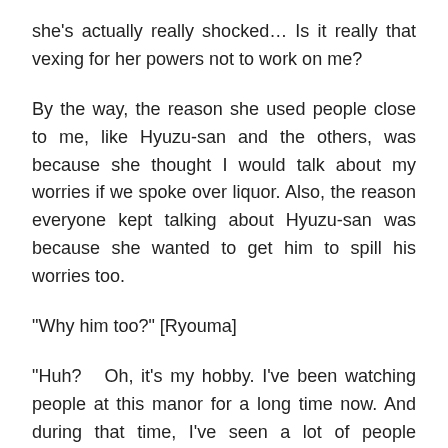she's actually really shocked… Is it really that vexing for her powers not to work on me?
By the way, the reason she used people close to me, like Hyuzu-san and the others, was because she thought I would talk about my worries if we spoke over liquor. Also, the reason everyone kept talking about Hyuzu-san was because she wanted to get him to spill his worries too.
“Why him too?” [Ryouma]
“Huh?   Oh, it's my hobby. I've been watching people at this manor for a long time now. And during that time, I've seen a lot of people become infatuated with each other. At times like that, I would support them from the shadows like this, and use my powers to create a good